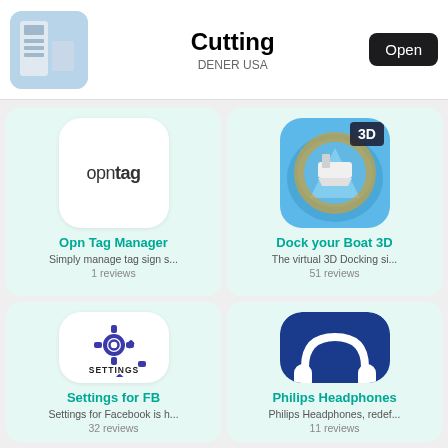[Figure (screenshot): App store top banner showing a cutting machine app by DENER USA with an Open button]
Cutting
DENER USA
[Figure (screenshot): Opn Tag Manager app icon - white rounded square with opntag text]
Opn Tag Manager
Simply manage tag sign s...
1 reviews
[Figure (screenshot): Dock your Boat 3D app icon - aerial view of boat docking with 3D badge]
Dock your Boat 3D
The virtual 3D Docking si...
51 reviews
[Figure (screenshot): Settings for FB app icon - gear/settings icon with SETTINGS text]
Settings for FB
Settings for Facebook is h...
32 reviews
[Figure (screenshot): Philips Headphones app icon - white headphones on blue background with PHILIPS text]
Philips Headphones
Philips Headphones, redef...
11 reviews